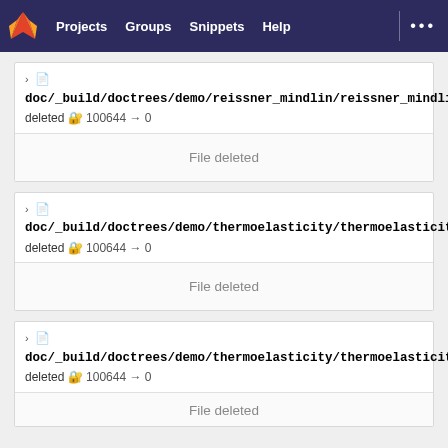Projects  Groups  Snippets  Help
doc/_build/doctrees/demo/reissner_mindlin/reissner_mindlin_quads.py.doctree deleted 100644 → 0
File deleted
doc/_build/doctrees/demo/thermoelasticity/thermoelasticity.doctree deleted 100644 → 0
File deleted
doc/_build/doctrees/demo/thermoelasticity/thermoelasticity_transient.doctree deleted 100644 → 0
File deleted